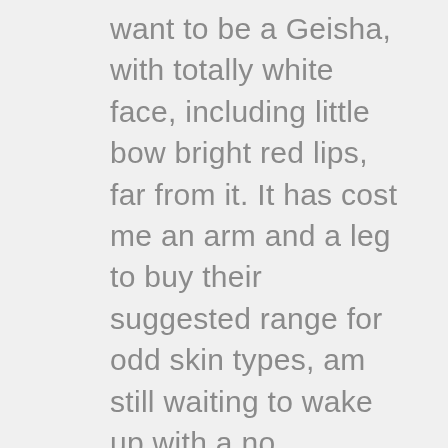want to be a Geisha, with totally white face, including little bow bright red lips, far from it. It has cost me an arm and a leg to buy their suggested range for odd skin types, am still waiting to wake up with a no wrinkled, glowing physiognomy ... not sure how long this procedure will take! I use cleansing Camelia Oil, lovely and soothing, I use it as first step and it does a great job of removing makeup from face and eyes, two products in one, great, Next